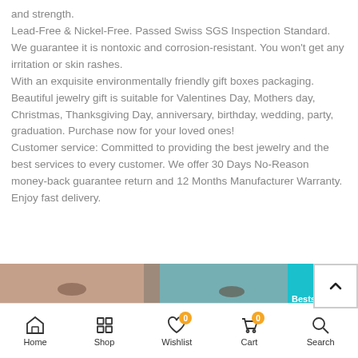and strength. Lead-Free & Nickel-Free. Passed Swiss SGS Inspection Standard. We guarantee it is nontoxic and corrosion-resistant. You won't get any irritation or skin rashes. With an exquisite environmentally friendly gift boxes packaging. Beautiful jewelry gift is suitable for Valentines Day, Mothers day, Christmas, Thanksgiving Day, anniversary, birthday, wedding, party, graduation. Purchase now for your loved ones! Customer service: Committed to providing the best jewelry and the best services to every customer. We offer 30 Days No-Reason money-back guarantee return and 12 Months Manufacturer Warranty. Enjoy fast delivery.
[Figure (photo): Banner image showing two people (a woman and a man) wearing sunglasses in a summery scene with teal/turquoise background. Text reads 'Bestseller TOP' on the right side.]
Home  Shop  Wishlist (0)  Cart (0)  Search